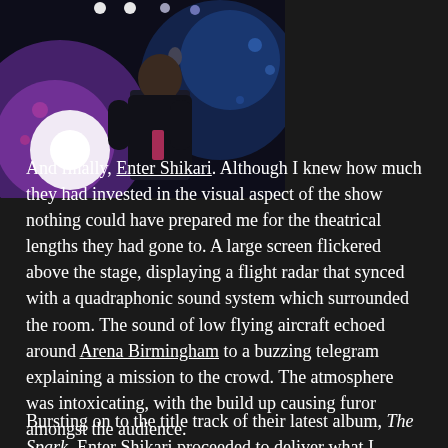[Figure (photo): A musician singing into a microphone on stage, lit by bright purple and blue stage lights. The performer appears to be male, wearing a dark jacket.]
And finally, Enter Shikari. Although I knew how much they had invested in the visual aspect of the show nothing could have prepared me for the theatrical lengths they had gone to. A large screen flickered above the stage, displaying a flight radar that synced with a quadraphonic sound system which surrounded the room. The sound of low flying aircraft echoed around Arena Birmingham to a buzzing telegram explaining a mission to the crowd. The atmosphere was intoxicating, with the build up causing furor amongst the audience.
Bursting on to the title track of their latest album, The Spark, Enter Shikari proceeded to deliver what I consider